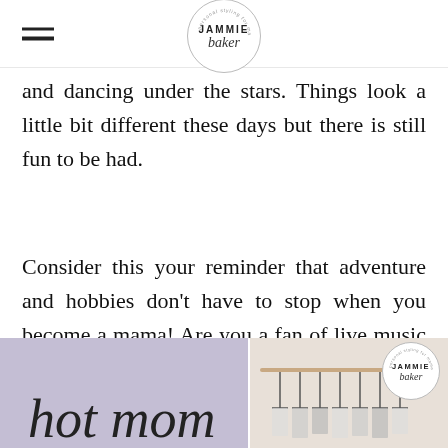JAMMIE baker — personal styling for mamas
and dancing under the stars. Things look a little bit different these days but there is still fun to be had.
Consider this your reminder that adventure and hobbies don't have to stop when you become a mama! Are you a fan of live music too?
[Figure (photo): Bottom banner image showing 'hot mom' in cursive script on a purple/lavender background on the left side, and a clothing rack with hangers on the right side, with a small Jammie Baker logo circle in the upper right corner.]